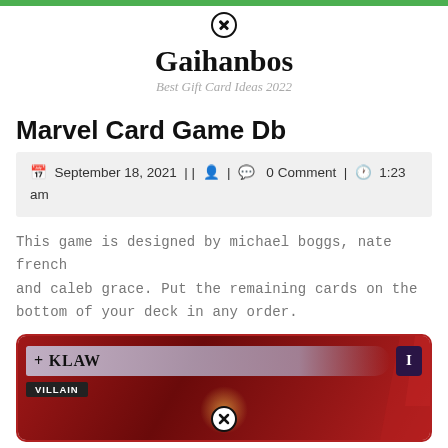Gaihanbos — Best Gift Card Ideas 2022
Marvel Card Game Db
September 18, 2021 | | | | 0 Comment | 1:23 am
This game is designed by michael boggs, nate french and caleb grace. Put the remaining cards on the bottom of your deck in any order.
[Figure (photo): Klaw villain card from Marvel card game, showing the character name with a cross symbol, numbered 1, with 'VILLAIN' badge, dark purple and red background with glowing figure]